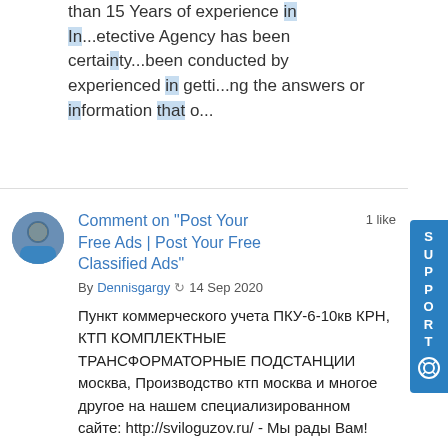than 15 Years of experience in In...etective Agency has been certainty...been conducted by experienced in getti...ng the answers or information that o...
Comment on "Post Your Free Ads | Post Your Free Classified Ads"
By Dennisgargy  14 Sep 2020
1 like
Пункт коммерческого учета ПКУ-6-10кв КРН, КТП КОМПЛЕКТНЫЕ ТРАНСФОРМАТОРНЫЕ ПОДСТАНЦИИ москва, Производство ктп москва и многое другое на нашем специализированном сайте: http://sviloguzov.ru/ - Мы рады Вам!